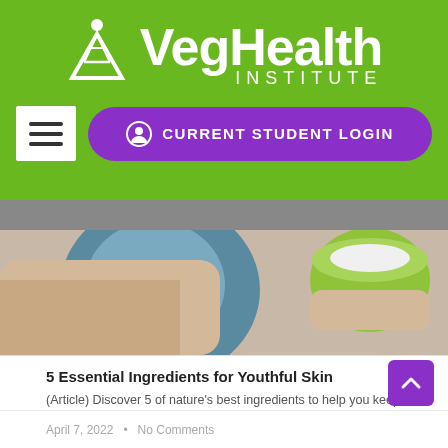[Figure (logo): VegHealth Institute logo — white stylized triangle/leaf icon with person figure on top, white text 'VegHealth' large and 'INSTITUTE' in spaced capitals, on green background]
[Figure (screenshot): Navigation bar with white hamburger menu button on left and purple pill-shaped 'CURRENT STUDENT LOGIN' button on right, on green background]
[Figure (photo): Close-up photo of hands with skin care products and towels — blue circular item, person's arm, green bowl with white cream]
5 Essential Ingredients for Youthful Skin
(Article) Discover 5 of nature's best ingredients to help you keep a youthful glow.
READ MORE »
April 7, 2022  •  No Comments